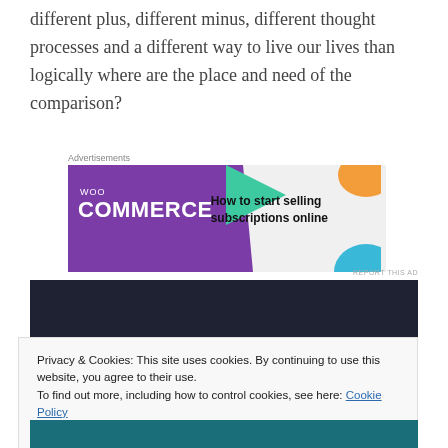different plus, different minus, different thought processes and a different way to live our lives than logically where are the place and need of the comparison?
Advertisements
[Figure (other): WooCommerce advertisement banner: purple background with WooCommerce logo on left, green arrow shape, orange and blue decorative shapes on right, text 'How to start selling subscriptions online']
REPORT THIS AD
[Figure (photo): Dark navy/dark blue image block, partially visible]
Privacy & Cookies: This site uses cookies. By continuing to use this website, you agree to their use.
To find out more, including how to control cookies, see here: Cookie Policy
Close and accept
[Figure (other): Dark teal/green image partially visible at bottom]